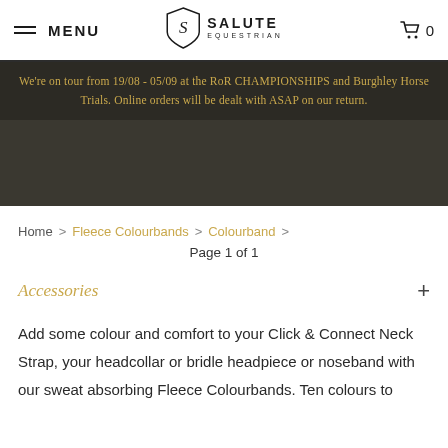MENU | SALUTE EQUESTRIAN | 0
We're on tour from 19/08 - 05/09 at the RoR CHAMPIONSHIPS and Burghley Horse Trials. Online orders will be dealt with ASAP on our return.
Home > Fleece Colourbands > Colourband >
Page 1 of 1
Accessories
Add some colour and comfort to your Click & Connect Neck Strap, your headcollar or bridle headpiece or noseband with our sweat absorbing Fleece Colourbands. Ten colours to